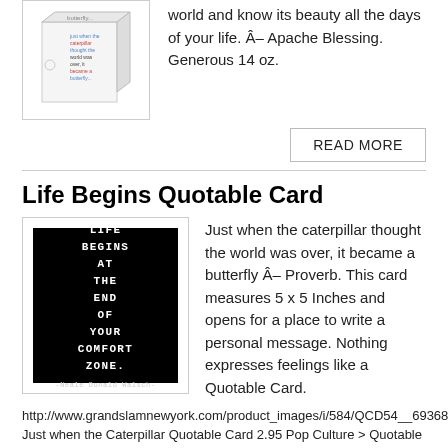[Figure (photo): White gift box with butterfly/caterpillar quote text on sides]
world and know its beauty all the days of your life. Â– Apache Blessing. Generous 14 oz.
READ MORE
Life Begins Quotable Card
[Figure (photo): Black card with white text reading LIFE BEGINS AT THE END OF YOUR COMFORT ZONE. -NEALE DONALD WALSCH-]
Just when the caterpillar thought the world was over, it became a butterfly Â– Proverb. This card measures 5 x 5 Inches and opens for a place to write a personal message. Nothing expresses feelings like a Quotable Card.
http://www.grandslamnewyork.com/product_images/i/584/QCD54__69368. Just when the Caterpillar Quotable Card 2.95 Pop Culture > Quotable new gift cards, quotable,